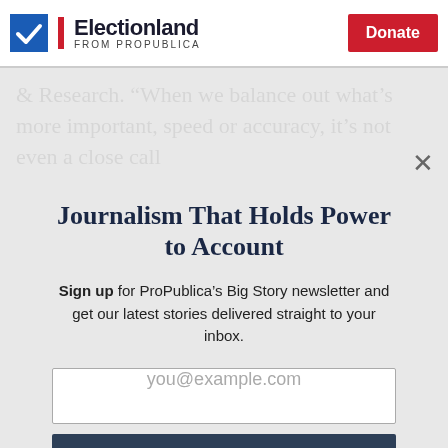Electionland FROM PROPUBLICA | Donate
& Research. “When we balance out what’s more important, speed or accuracy, it’s not even a close call
Journalism That Holds Power to Account
Sign up for ProPublica’s Big Story newsletter and get our latest stories delivered straight to your inbox.
you@example.com
Get the Newsletter
No thanks, I’m all set
This site is protected by reCAPTCHA and the Google Privacy Policy and Terms of Service apply.